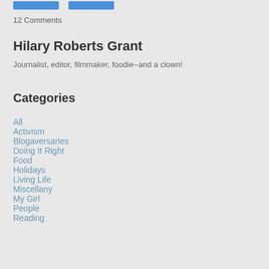12 Comments
Hilary Roberts Grant
Journalist, editor, filmmaker, foodie--and a clown!
Categories
All
Activism
Blogaversaries
Doing It Right
Food
Holidays
Living Life
Miscellany
My Girl
People
Reading